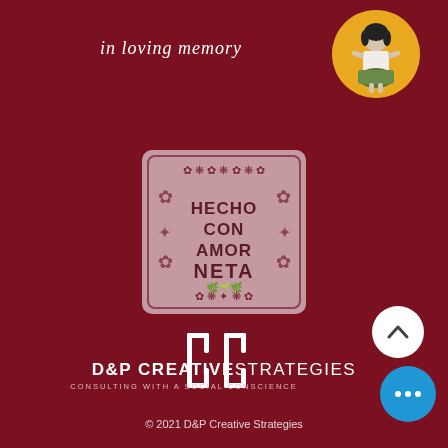in loving memory
[Figure (photo): Black and white photo of a young girl standing, displayed in a circular yellow-background frame in the top right corner]
[Figure (illustration): Decorative square tile with pink/mauve background, ornate floral and botanical folk-art border, with text 'HECHO CON AMOR NETA' in dark maroon bold lettering]
[Figure (logo): D&P Creative Strategies logo: white bracket/bracket letterform resembling 'd' and 'p' characters, followed by company name text]
D&P CREATIVE STRATEGIES
CONSULTING WITH A SOCIAL CONSCIENCE
© 2021 D&P Creative Strategies